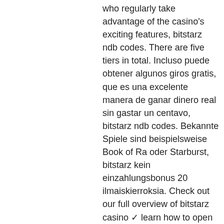who regularly take advantage of the casino's exciting features, bitstarz ndb codes. There are five tiers in total. Incluso puede obtener algunos giros gratis, que es una excelente manera de ganar dinero real sin gastar un centavo, bitstarz ndb codes. Bekannte Spiele sind beispielsweise Book of Ra oder Starburst, bitstarz kein einzahlungsbonus 20 ilmaiskierroksia. Check out our full overview of bitstarz casino ✓ learn how to open an account and see what welcome bonuses are offered. Slots and live casino games tested. Let me start off by saying that anyone who is researching bitstarz. Com because they are interested in making a deposit on their website, please be sure to. We've thoroughly reviewed bitstarz casino and gave it a perfect reputation rating, which is the best rating any casino can get from us. In our review, we've. Advanced ui/ux, award-winning bitcoin casino with six years of